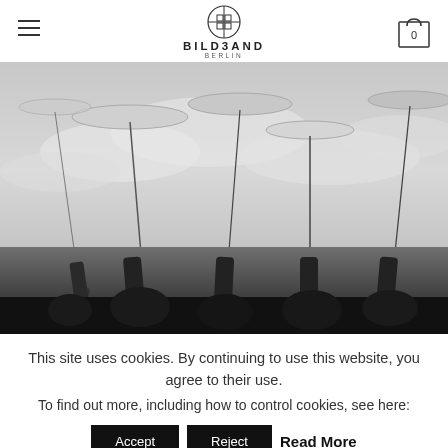BILDBAND BERLIN — navigation header with hamburger menu and cart icon
[Figure (photo): Black and white photo taken from below showing multiple hands raised upward holding long sticks/rods with circular disk shapes (kites or similar objects) at the top against a cloudy sky background]
This site uses cookies. By continuing to use this website, you agree to their use.
To find out more, including how to control cookies, see here:
Accept  Reject  Read More